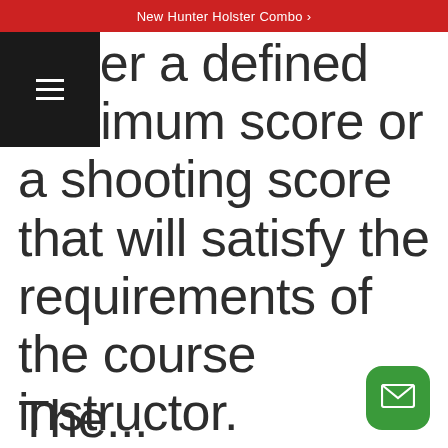New Hunter Holster Combo >
either a defined minimum score or a shooting score that will satisfy the requirements of the course instructor.
Additionally, a written exam may be required by the course instructor.
The...